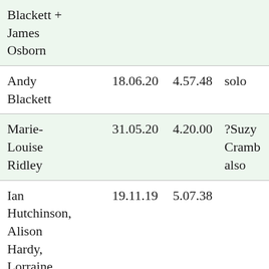| Name | Date | Time | Note |
| --- | --- | --- | --- |
| Blackett + James Osborn |  |  |  |
| Andy Blackett | 18.06.20 | 4.57.48 | solo |
| Marie-Louise Ridley | 31.05.20 | 4.20.00 | ?Suzy Cramb also |
| Ian Hutchinson, Alison Hardy, Lorraine Collier | 19.11.19 | 5.07.38 |  |